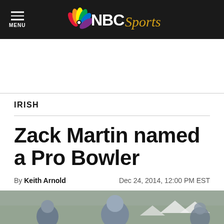NBC Sports
IRISH
Zack Martin named a Pro Bowler
By Keith Arnold   Dec 24, 2014, 12:00 PM EST
[Figure (photo): Football players in Dallas Cowboys uniforms and helmets on a field]